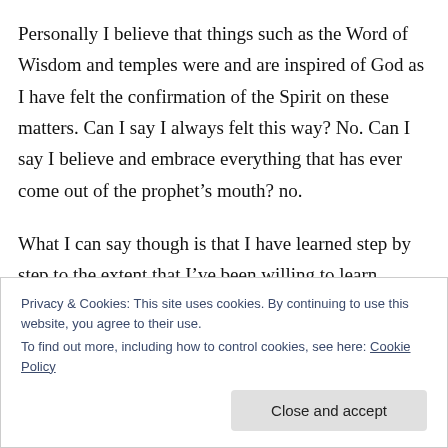Personally I believe that things such as the Word of Wisdom and temples were and are inspired of God as I have felt the confirmation of the Spirit on these matters. Can I say I always felt this way? No. Can I say I believe and embrace everything that has ever come out of the prophet's mouth? no.

What I can say though is that I have learned step by step to the extent that I've been willing to learn.
Privacy & Cookies: This site uses cookies. By continuing to use this website, you agree to their use.
To find out more, including how to control cookies, see here: Cookie Policy